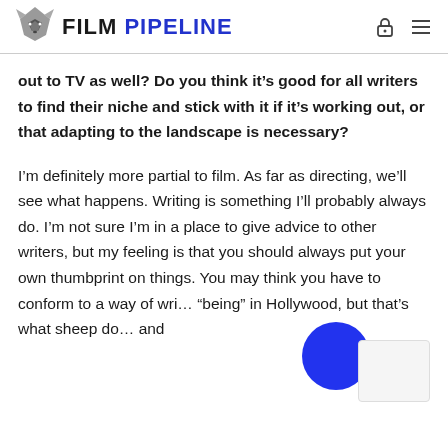FILM PIPELINE
out to TV as well? Do you think it’s good for all writers to find their niche and stick with it if it’s working out, or that adapting to the landscape is necessary?
I’m definitely more partial to film. As far as directing, we’ll see what happens. Writing is something I’ll probably always do. I’m not sure I’m in a place to give advice to other writers, but my feeling is that you should always put your own thumbprint on things. You may think you have to conform to a way of wri… “being” in Hollywood, but that’s what sheep do… and